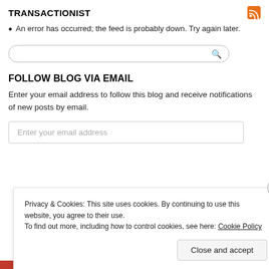TRANSACTIONIST
An error has occurred; the feed is probably down. Try again later.
FOLLOW BLOG VIA EMAIL
Enter your email address to follow this blog and receive notifications of new posts by email.
Privacy & Cookies: This site uses cookies. By continuing to use this website, you agree to their use. To find out more, including how to control cookies, see here: Cookie Policy
Close and accept